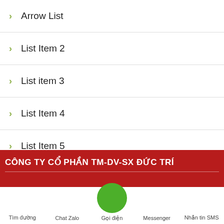Arrow List
List Item 2
List item 3
List Item 4
List Item 5
CÔNG TY CỔ PHẦN TM-DV-SX ĐỨC TRÍ
Tìm đường   Chat Zalo   Gọi điện   Messenger   Nhắn tin SMS